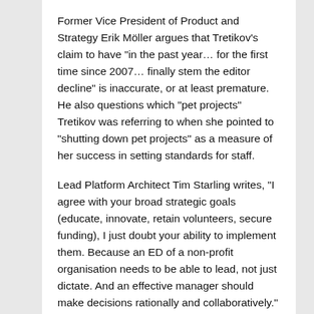Former Vice President of Product and Strategy Erik Möller argues that Tretikov's claim to have "in the past year… for the first time since 2007… finally stem the editor decline" is inaccurate, or at least premature. He also questions which "pet projects" Tretikov was referring to when she pointed to "shutting down pet projects" as a measure of her success in setting standards for staff.
Lead Platform Architect Tim Starling writes, "I agree with your broad strategic goals (educate, innovate, retain volunteers, secure funding), I just doubt your ability to implement them. Because an ED of a non-profit organisation needs to be able to lead, not just dictate. And an effective manager should make decisions rationally and collaboratively."